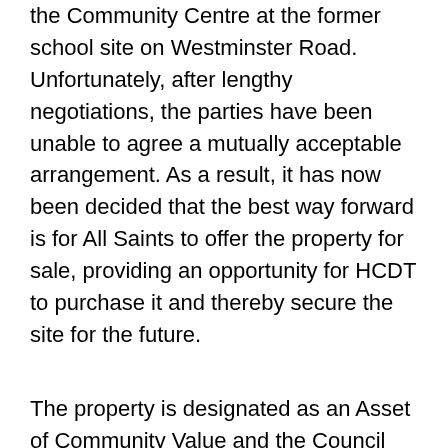the Community Centre at the former school site on Westminster Road. Unfortunately, after lengthy negotiations, the parties have been unable to agree a mutually acceptable arrangement. As a result, it has now been decided that the best way forward is for All Saints to offer the property for sale, providing an opportunity for HCDT to purchase it and thereby secure the site for the future.
The property is designated as an Asset of Community Value and the Council has now been notified by All Saints of its intention to sell the site. As an asset of community value, HCDT now has six months to make an offer before any sale can proceed. In the meantime, All